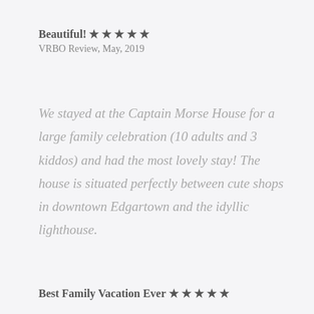Beautiful! ★★★★★
VRBO Review, May, 2019
We stayed at the Captain Morse House for a large family celebration (10 adults and 3 kiddos) and had the most lovely stay! The house is situated perfectly between cute shops in downtown Edgartown and the idyllic lighthouse.
Best Family Vacation Ever ★★★★★